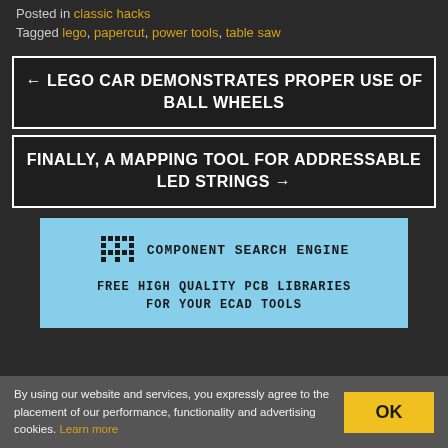Posted in classic hacks
Tagged lego, papercut, power tools, table saw
← LEGO CAR DEMONSTRATES PROPER USE OF BALL WHEELS
FINALLY, A MAPPING TOOL FOR ADDRESSABLE LED STRINGS →
[Figure (infographic): Component Search Engine advertisement with chip icon. Text: FREE HIGH QUALITY PCB LIBRARIES FOR YOUR ECAD TOOLS]
By using our website and services, you expressly agree to the placement of our performance, functionality and advertising cookies. Learn more